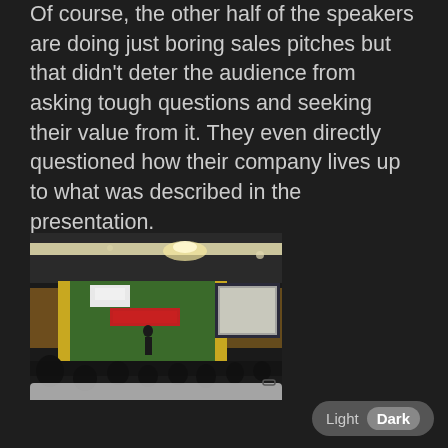Of course, the other half of the speakers are doing just boring sales pitches but that didn't deter the audience from asking tough questions and seeking their value from it. They even directly questioned how their company lives up to what was described in the presentation.
[Figure (photo): Photo of a conference hall with audience seated, a speaker at the front near a green backdrop with a banner, and a projection screen on the right. Room has warm ceiling lights.]